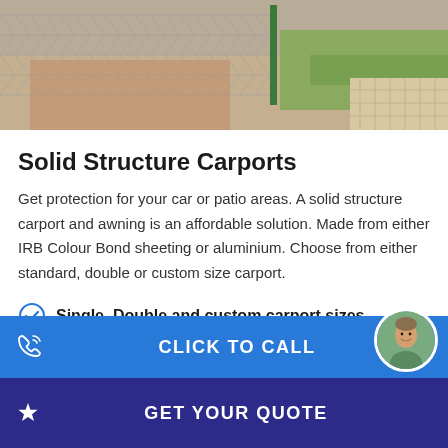[Figure (photo): Outdoor photo showing a chain-link fence with grass and paved/brick pathway visible behind it, appears to be a garden or property boundary area.]
Solid Structure Carports
Get protection for your car or patio areas. A solid structure carport and awning is an affordable solution. Made from either IRB Colour Bond sheeting or aluminium. Choose from either standard, double or custom size carport.
Single, Double and custom carport sizes
Custom styles to fit your home or establishment
CLICK TO CALL
GET YOUR QUOTE